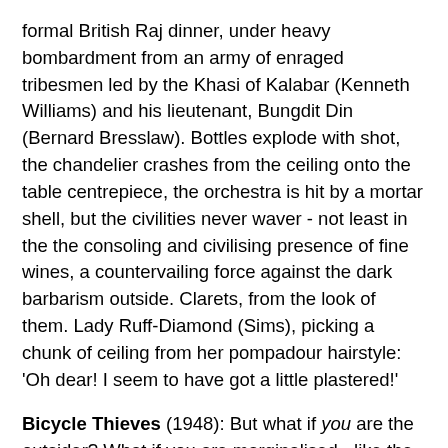formal British Raj dinner, under heavy bombardment from an army of enraged tribesmen led by the Khasi of Kalabar (Kenneth Williams) and his lieutenant, Bungdit Din (Bernard Bresslaw). Bottles explode with shot, the chandelier crashes from the ceiling onto the table centrepiece, the orchestra is hit by a mortar shell, but the civilities never waver - not least in the the consoling and civilising presence of fine wines, a countervailing force against the dark barbarism outside. Clarets, from the look of them. Lady Ruff-Diamond (Sims), picking a chunk of ceiling from her pompadour hairstyle: 'Oh dear! I seem to have got a little plastered!'
Bicycle Thieves (1948): But what if you are the outsider? What if you are marginalised - like the father and son in Vittorio de Sica's masterpiece? Wine becomes implicated in your misfortune, an index, even, of your poverty and despair. Father (Lamberto Maggiorani) treats son (Enzo Staiola) to a restaurant meal with wine, a consolation for their latest round of misfortunes. 'Let's forget everything and get drunk!' he